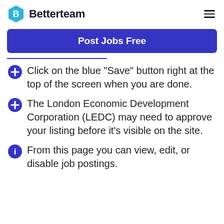Betterteam
Post Jobs Free
Click on the blue "Save" button right at the top of the screen when you are done.
The London Economic Development Corporation (LEDC) may need to approve your listing before it's visible on the site.
From this page you can view, edit, or disable job postings.